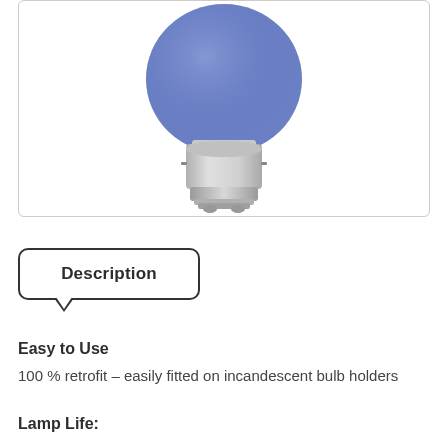[Figure (photo): A blue LED golf ball bulb with a white bayonet (B22) cap, shown from below against a white background. The bulb has a rounded blue globe shape on top and a white cylindrical base with two metal pins.]
Description
Easy to Use
100 % retrofit – easily fitted on incandescent bulb holders
Lamp Life:
The product appears to be designed to last a very long time...